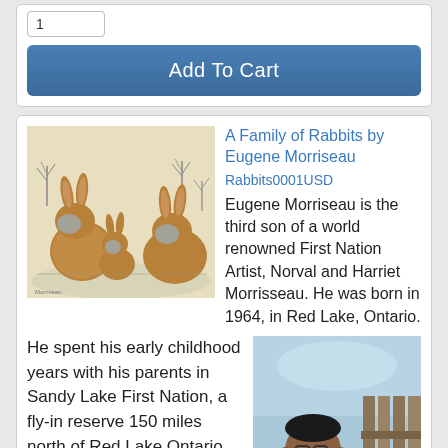1
Add To Cart
A Family of Rabbits by Eugene Morriseau
Rabbits0001USD
[Figure (illustration): Illustration of a family of rabbits in a winter scene, in an Indigenous art style.]
Eugene Morriseau is the third son of a world renowned First Nation Artist, Norval and Harriet Morrisseau. He was born in 1964, in Red Lake, Ontario.
He spent his early childhood years with his parents in Sandy Lake First Nation, a fly-in reserve 150 miles north of Red Lake Ontario. When he was five, he moved to Red Lake to
[Figure (photo): Photo of a man (Eugene Morriseau) wearing a yellow vest over a black shirt, standing outdoors near a wooden fence.]